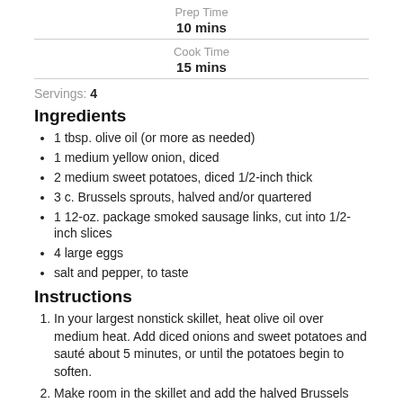Prep Time
10 mins
Cook Time
15 mins
Servings: 4
Ingredients
1 tbsp. olive oil (or more as needed)
1 medium yellow onion, diced
2 medium sweet potatoes, diced 1/2-inch thick
3 c. Brussels sprouts, halved and/or quartered
1 12-oz. package smoked sausage links, cut into 1/2-inch slices
4 large eggs
salt and pepper, to taste
Instructions
In your largest nonstick skillet, heat olive oil over medium heat. Add diced onions and sweet potatoes and sauté about 5 minutes, or until the potatoes begin to soften.
Make room in the skillet and add the halved Brussels